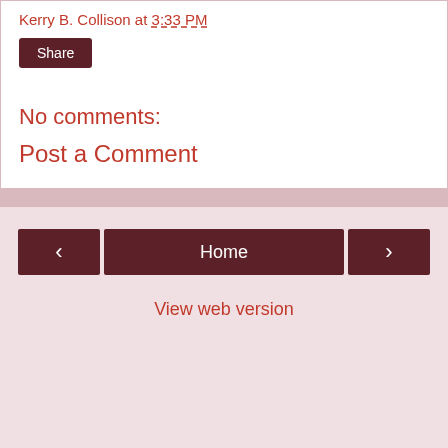Kerry B. Collison at 3:33 PM
Share
No comments:
Post a Comment
‹
Home
›
View web version